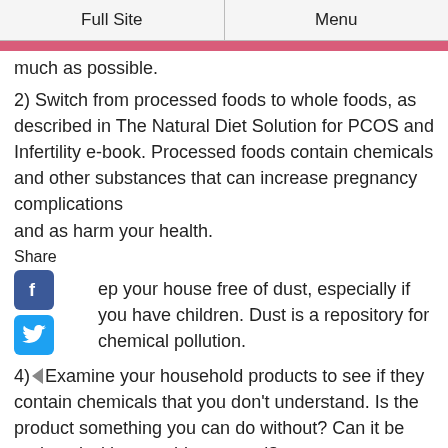Full Site  |  Menu
much as possible.
2) Switch from processed foods to whole foods, as described in The Natural Diet Solution for PCOS and Infertility e-book. Processed foods contain chemicals and other substances that can increase pregnancy complications and as harm your health.
Share
[Figure (logo): Facebook share icon (blue rounded square with white f)]
[Figure (logo): Twitter share icon (blue rounded square with white bird)]
3) Keep your house free of dust, especially if you have children. Dust is a repository for chemical pollution.
4) Examine your household products to see if they contain chemicals that you don't understand. Is the product something you can do without? Can it be replaced with something natural?
Take triclosan for example, which is an antibacterial and antifungal agent. Its molecular structure is similar to a